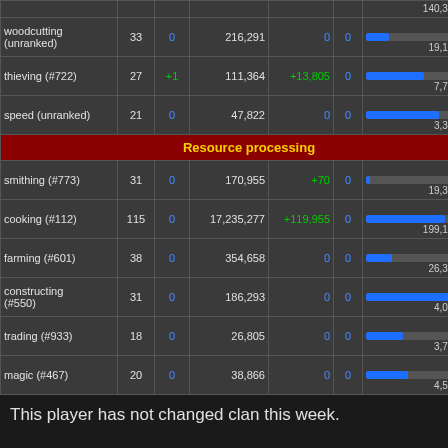| Skill | Lvl | +/- | XP | XP Gain | D | Progress |
| --- | --- | --- | --- | --- | --- | --- |
| woodcutting (unranked) | 33 | 0 | 216,291 | 0 | 0 | 18.15% / 19,160 exp left |
| thieving (#722) | 27 | +1 | 111,364 | +13,805 | 0 | 45.36% / 7,797 exp left |
| speed (unranked) | 21 | 0 | 47,822 | 0 | 0 | 56.91% / 3,318 exp left |
| Resource processing |  |  |  |  |  |  |
| smithing (#773) | 31 | 0 | 170,955 | +70 | 0 | 3.33% / 19,393 exp left |
| cooking (#112) | 115 | 0 | 17,235,277 | +119,955 | 0 | 61.82% / 199,108 exp left |
| farming (#601) | 38 | 0 | 354,658 | 0 | 0 | 20.65% / 26,326 exp left |
| constructing (#550) | 31 | 0 | 186,293 | 0 | 0 | 79.79% / 4,055 exp left |
| trading (#933) | 18 | 0 | 26,805 | 0 | 0 | 28.54% / 3,775 exp left |
| magic (#467) | 20 | 0 | 38,866 | 0 | 0 | 33.05% / 4,574 exp left |
This player has not changed clan this week.